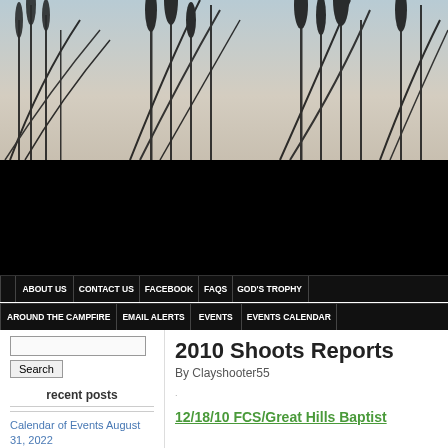[Figure (photo): Silhouette of reeds/grass against a light sky, website header image]
[Figure (screenshot): Black navigation bar area]
ABOUT US | CONTACT US | FACEBOOK | FAQS | GOD'S TROPHY
AROUND THE CAMPFIRE | EMAIL ALERTS | EVENTS | EVENTS CALENDAR
Search
recent posts
Calendar of Events August 31, 2022
2010 Shoots Reports
By Clayshooter55
12/18/10 FCS/Great Hills Baptist